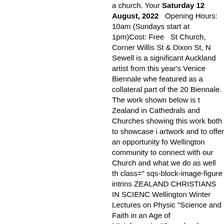a church. Your Saturday 12 August, 2022   Opening Hours: 10am (Sundays start at 1pm)Cost: Free   St Church, Corner Willis St & Dixon St, N Sewell is a significant Auckland artist from this year's Venice Biennale whe featured as a collateral part of the 20 Biennale. The work shown below is t Zealand in Cathedrals and Churches showing this work both to showcase i artwork and to offer an opportunity fo Wellington community to connect with our Church and what we do as well th class=" sqs-block-image-figure intrins ZEALAND CHRISTIANS IN SCIENC Wellington Winter Lectures on Physic "Science and Faith in an Age of Misinformation"Saturday 6 August at City. <figure class=" sqs-block-image Prof. Jeff Tallon, 'Seeing the Invisible universe and our place in it'Dr. Greg and Trasnformation'Dr. Gray Manicom Mysteries of Mathematics Reveal Ab Nicola Hoggard Creegan, 'From Hiros Recombinant DNA: The importance o reflection'Cost: Only $10Register at www.nzcis.org/upcoming-eventsFace https://fb.me/e/3CgwX8RYH  ST JOH CAMP After having to defer the Chur of covid, we are excited about having weekend this year. Please SAVE TH